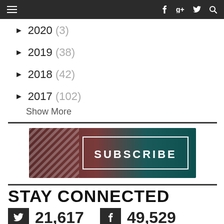Navigation bar with menu, Facebook, Google+, Twitter, Search icons
► 2020 (3)
► 2019 (38)
► 2018 (42)
► 2017 (102)
Show More
[Figure (other): Subscribe banner with diagonal striped pattern on left and teal gradient background with white outlined box containing the text SUBSCRIBE]
STAY CONNECTED
21,617   49,529